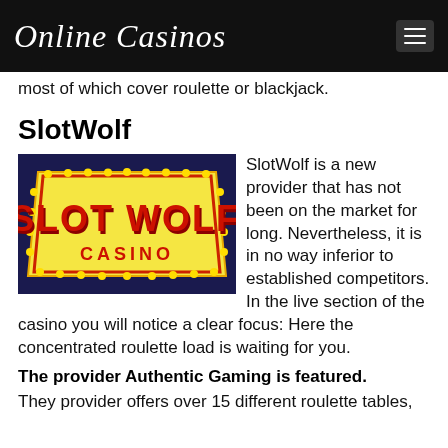Online Casinos
most of which cover roulette or blackjack.
SlotWolf
[Figure (logo): SlotWolf Casino logo: a neon-style marquee sign with yellow/gold border dotted with light bulbs on a dark navy background, showing 'SLOT WOLF' in red 3D letters and 'CASINO' in red below.]
SlotWolf is a new provider that has not been on the market for long. Nevertheless, it is in no way inferior to established competitors. In the live section of the casino you will notice a clear focus: Here the concentrated roulette load is waiting for you.
The provider Authentic Gaming is featured.
They provider offers over 15 different roulette tables,